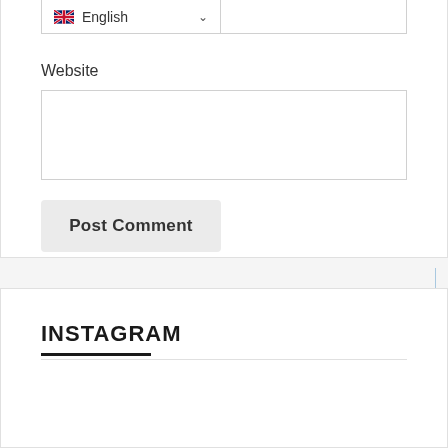[Figure (screenshot): Language selector dropdown showing UK flag and 'English' text with chevron]
Website
[Figure (screenshot): Empty website text input field]
Post Comment
INSTAGRAM
BACK TO TOP